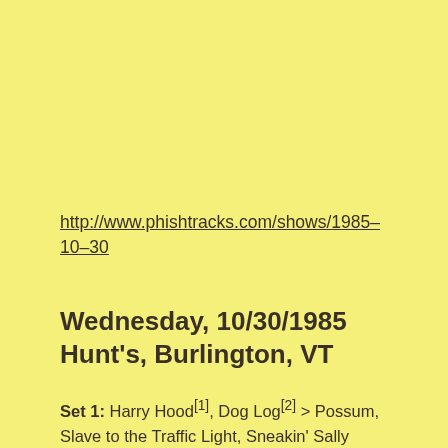http://www.phishtracks.com/shows/1985-10-30
Wednesday, 10/30/1985 Hunt's, Burlington, VT
Set 1: Harry Hood[1], Dog Log[2] > Possum, Slave to the Traffic Light, Sneakin' Sally Through the Alley, I Wish, Revival, Alumni Blues[3] > Letter to